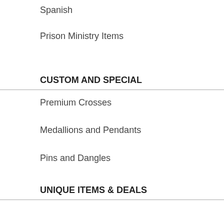Spanish >
Prison Ministry Items >
CUSTOM AND SPECIAL
Premium Crosses >
Medallions and Pendants >
Pins and Dangles >
UNIQUE ITEMS & DEALS
Deal of the Day >
Special Deals >
Discontinued Items >
[Figure (other): Payment method icons: VISA, MasterCard, American Express, Discover]
to the ins
To enable co
1. Select Tools
2. Select the P
3. If your priva
(You can click
4. Click OK.
5. If you're stil
Medium down
To enable co
1. Select Tools
2. Select the P
3. Under the O
4. Click OK.
To enable co
1. Select the O
2. Select the S
3.Under the "A
option.
4. Click OK.
After making changes were